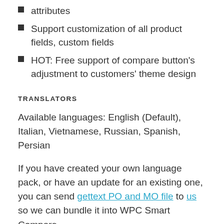attributes
Support customization of all product fields, custom fields
HOT: Free support of compare button's adjustment to customers' theme design
TRANSLATORS
Available languages: English (Default), Italian, Vietnamese, Russian, Spanish, Persian
If you have created your own language pack, or have an update for an existing one, you can send gettext PO and MO file to us so we can bundle it into WPC Smart Compare.
NEED MORE FEATURES?
Please try other plugins from us: